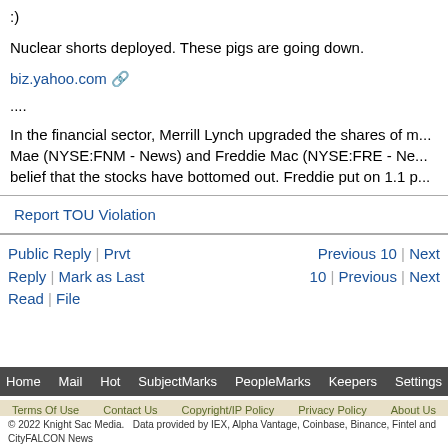:)
Nuclear shorts deployed. These pigs are going down.
biz.yahoo.com ↗
....
In the financial sector, Merrill Lynch upgraded the shares of m... Mae (NYSE:FNM - News) and Freddie Mac (NYSE:FRE - Ne... belief that the stocks have bottomed out. Freddie put on 1.1 p...
Report TOU Violation
Public Reply | Prvt Reply | Mark as Last Read | File
Previous 10 | Next 10 | Previous | Next
Home   Mail   Hot   SubjectMarks   PeopleMarks   Keepers   Settings
Terms Of Use   Contact Us   Copyright/IP Policy   Privacy Policy   About Us
© 2022 Knight Sac Media.   Data provided by IEX, Alpha Vantage, Coinbase, Binance, Fintel and CityFALCON News